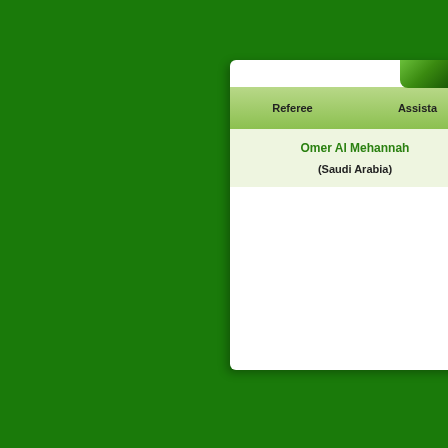| Referee | Assistant |
| --- | --- |
| Omer Al Mehannah
(Saudi Arabia) |  |
Line-ups
Mabrouk ZAID (GK)
Abdulaziz AL JANOUBI
Ahmed AL DOSARI
Hamad AL MONTASHARI
Khamis AL OWAYRAN
Mohammad AL SHLHOUB